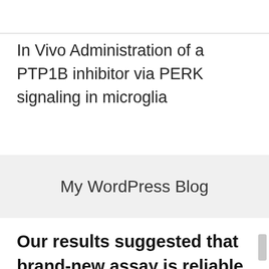In Vivo Administration of a PTP1B inhibitor via PERK signaling in microglia
My WordPress Blog
Our results suggested that brand-new assay is reliable for regimen clinical application, and serum YB-1 amounts could be a